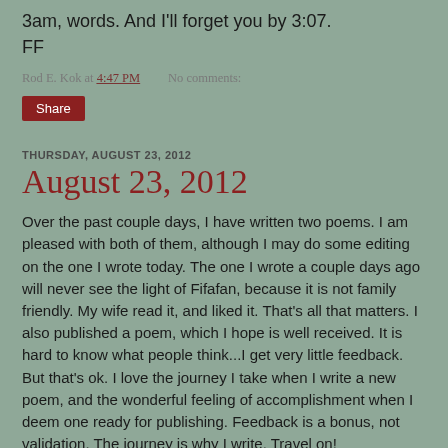3am, words. And I'll forget you by 3:07.
FF
Rod E. Kok at 4:47 PM    No comments:
Share
THURSDAY, AUGUST 23, 2012
August 23, 2012
Over the past couple days, I have written two poems. I am pleased with both of them, although I may do some editing on the one I wrote today. The one I wrote a couple days ago will never see the light of Fifafan, because it is not family friendly. My wife read it, and liked it. That's all that matters. I also published a poem, which I hope is well received. It is hard to know what people think...I get very little feedback. But that's ok. I love the journey I take when I write a new poem, and the wonderful feeling of accomplishment when I deem one ready for publishing. Feedback is a bonus, not validation. The journey is why I write. Travel on!
FF